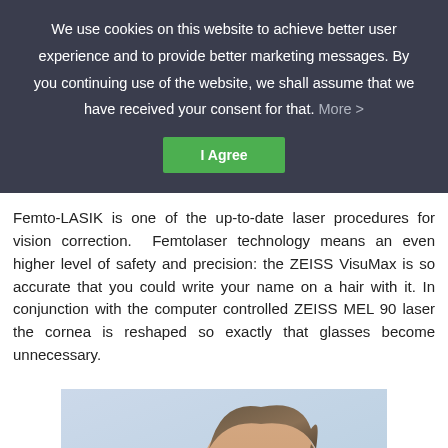We use cookies on this website to achieve better user experience and to provide better marketing messages. By you continuing use of the website, we shall assume that we have received your consent for that. More >
I Agree
Femto-LASIK is one of the up-to-date laser procedures for vision correction. Femtolaser technology means an even higher level of safety and precision: the ZEISS VisuMax is so accurate that you could write your name on a hair with it. In conjunction with the computer controlled ZEISS MEL 90 laser the cornea is reshaped so exactly that glasses become unnecessary.
[Figure (photo): Photo of a person's face/hair, partially visible, against a light blue background]